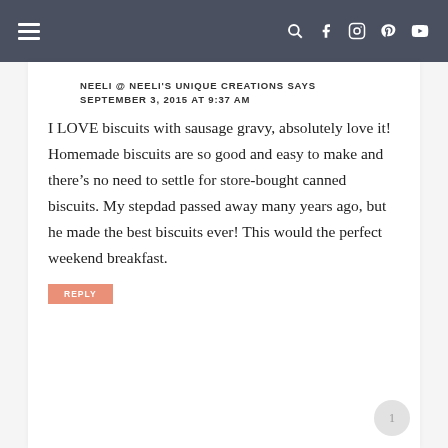Navigation bar with menu icon and social icons (search, facebook, instagram, pinterest, youtube)
NEELI @ NEELI'S UNIQUE CREATIONS SAYS
SEPTEMBER 3, 2015 AT 9:37 AM
I LOVE biscuits with sausage gravy, absolutely love it! Homemade biscuits are so good and easy to make and there's no need to settle for store-bought canned biscuits. My stepdad passed away many years ago, but he made the best biscuits ever! This would the perfect weekend breakfast.
REPLY